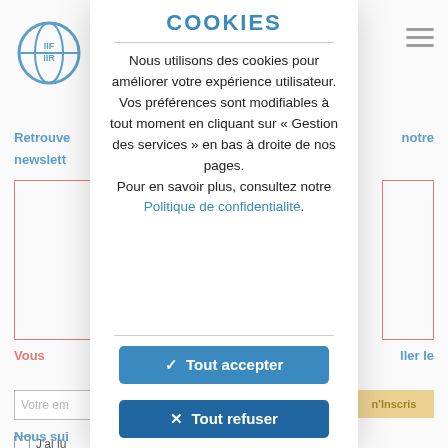COOKIES
Nous utilisons des cookies pour améliorer votre expérience utilisateur.
Vos préférences sont modifiables à tout moment en cliquant sur « Gestion des services » en bas à droite de nos pages.
Pour en savoir plus, consultez notre Politique de confidentialité.
✓ Tout accepter
✕ Tout refuser